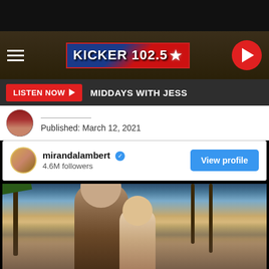KICKER 102.5
LISTEN NOW ▶  MIDDAYS WITH JESS
Published: March 12, 2021
[Figure (screenshot): Instagram embed card showing mirandalambert profile with 4.6M followers, View profile button, and a beach/couple photo below]
mirandalambert ✓
4.6M followers